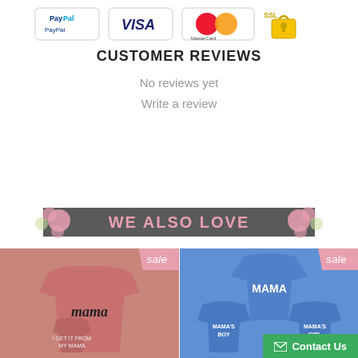[Figure (logo): Payment method icons: PayPal, Visa, MasterCard, SSL secure badge]
CUSTOMER REVIEWS
No reviews yet
Write a review
[Figure (infographic): We Also Love banner with pink floral decorations on a dark gray background]
[Figure (photo): Pink t-shirt with Mama text and a smaller shirt, sale tag in top right]
[Figure (photo): Blue t-shirts saying Mama, Mama's Boy, Mama's Girl, sale tag in top right, Contact Us button bottom right]